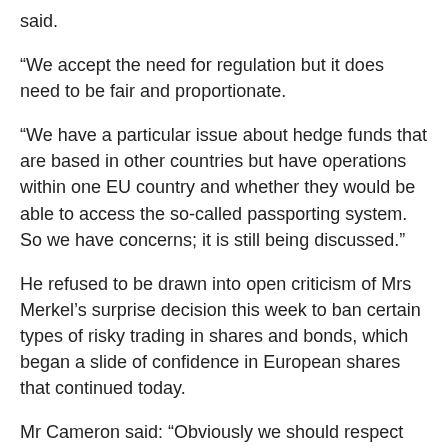said.
“We accept the need for regulation but it does need to be fair and proportionate.
“We have a particular issue about hedge funds that are based in other countries but have operations within one EU country and whether they would be able to access the so-called passporting system. So we have concerns; it is still being discussed.”
He refused to be drawn into open criticism of Mrs Merkel’s surprise decision this week to ban certain types of risky trading in shares and bonds, which began a slide of confidence in European shares that continued today.
Mr Cameron said: “Obviously we should respect each other’s decisions on these issues.”